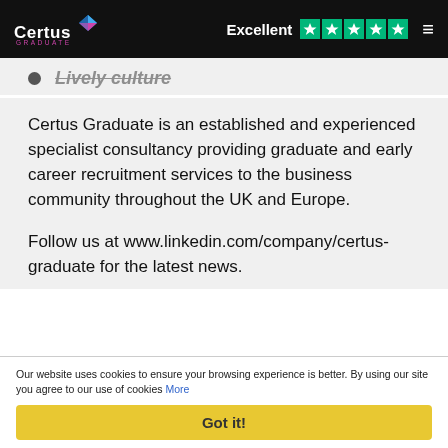Certus Graduate — Excellent ★★★★★
Lively culture
Certus Graduate is an established and experienced specialist consultancy providing graduate and early career recruitment services to the business community throughout the UK and Europe.
Follow us at www.linkedin.com/company/certus-graduate for the latest news.
⚠ Job has Expired
Our website uses cookies to ensure your browsing experience is better. By using our site you agree to our use of cookies More
Got it!
Latest Jobs